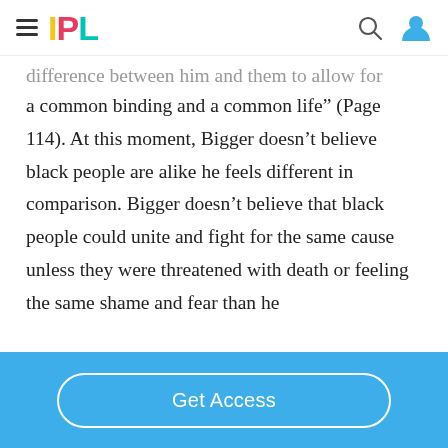IPL
difference between him and them to allow for a common binding and a common life” (Page 114). At this moment, Bigger doesn’t believe black people are alike he feels different in comparison. Bigger doesn’t believe that black people could unite and fight for the same cause unless they were threatened with death or feeling the same shame and fear than he
Get Access